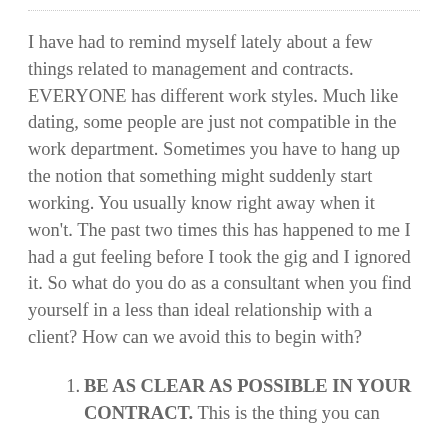I have had to remind myself lately about a few things related to management and contracts. EVERYONE has different work styles. Much like dating, some people are just not compatible in the work department. Sometimes you have to hang up the notion that something might suddenly start working. You usually know right away when it won't. The past two times this has happened to me I had a gut feeling before I took the gig and I ignored it. So what do you do as a consultant when you find yourself in a less than ideal relationship with a client? How can we avoid this to begin with?
BE AS CLEAR AS POSSIBLE IN YOUR CONTRACT. This is the thing you can